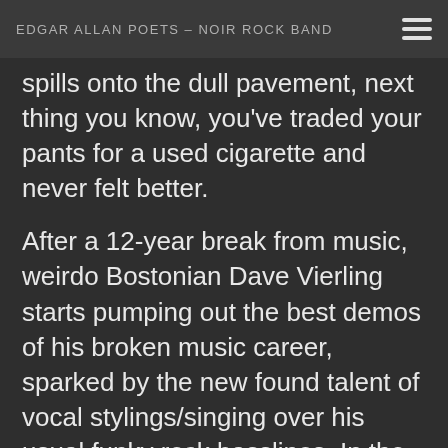EDGAR ALLAN POETS – NOIR ROCK BAND
spills onto the dull pavement, next thing you know, you've traded your pants for a used cigarette and never felt better.
After a 12-year break from music, weirdo Bostonian Dave Vierling starts pumping out the best demos of his broken music career, sparked by the new found talent of vocal stylings/singing over his usual funky rock basslines. In the search for collaboration and a producer, Vierling reconnects with an old friend, Neil Popkin, who has a knack for navigating and forecasting trends in different facets of life, including music.